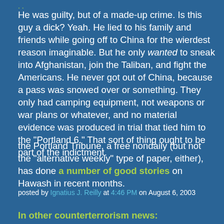. .
He was guilty, but of a made-up crime. Is this guy a dick? Yeah. He lied to his family and friends while going off to China for the wierdest reason imaginable. But he only wanted to sneak into Afghanistan, join the Taliban, and fight the Americans. He never got out of China, because a pass was snowed over or something. They only had camping equipment, not weapons or war plans or whatever, and no material evidence was produced in trial that tied him to the "Portland 6." That sort of thing ought to be part of the indictment.
the Portland Tribune, a free nondaily (but not the "alternative weekly" type of paper, either), has done a number of good stories on Hawash in recent months.
posted by Ignatius J. Reilly at 4:46 PM on August 6, 2003
In other counterterrorism news: